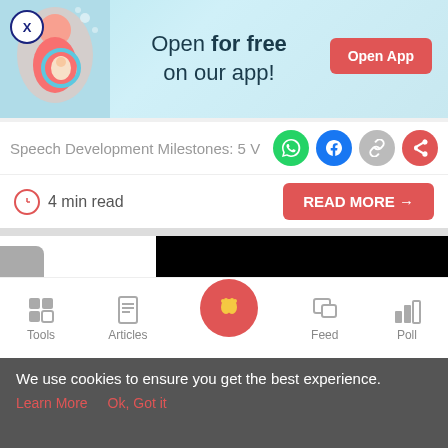[Figure (screenshot): Mobile app promotional banner with light blue background, pregnancy illustration on left, text 'Open for free on our app!' in center, and red 'Open App' button on right. X close button in top-left corner.]
Speech Development Milestones: 5 V
[Figure (screenshot): Social share icons: WhatsApp (green), Facebook (blue), link (gray), share (red)]
4 min read
[Figure (screenshot): Red 'READ MORE →' button]
Speech Deve
Ways to Enco
[Figure (screenshot): Mobile app bottom navigation bar with Tools, Articles, Home (pink circle with baby feet), Feed, Poll icons]
We use cookies to ensure you get the best experience.
Learn More   Ok, Got it